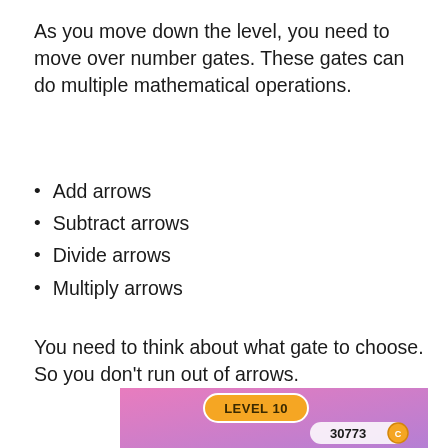As you move down the level, you need to move over number gates. These gates can do multiple mathematical operations.
Add arrows
Subtract arrows
Divide arrows
Multiply arrows
You need to think about what gate to choose. So you don’t run out of arrows.
[Figure (screenshot): Game screenshot showing Level 10 with a pink/purple gradient background, a yellow pill-shaped badge labeled 'LEVEL 10', a score of '30773' with a gold coin icon, and blue building silhouettes at the bottom.]